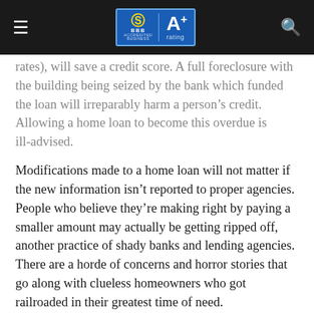≡  BBB A+ rating  🔍
rates), will save a credit score. A full foreclosure with the building being seized by the bank which funded the loan will irreparably harm a person's credit. Allowing a home loan to become this overdue is ill-advised.
Modifications made to a home loan will not matter if the new information isn't reported to proper agencies. People who believe they're making right by paying a smaller amount may actually be getting ripped off, another practice of shady banks and lending agencies.  There are a horde of concerns and horror stories that go along with clueless homeowners who got railroaded in their greatest time of need.
Consult our Home Preservation Experts to handle your home loan modification application,